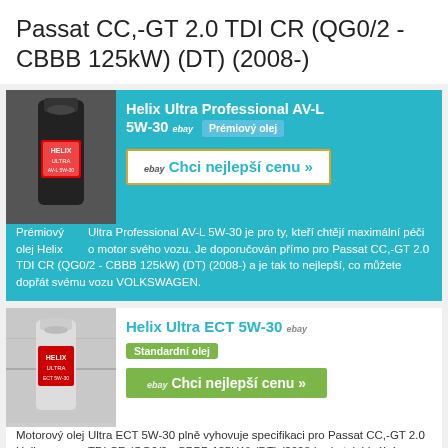Passat CC,-GT 2.0 TDI CR (QG0/2 - CBBB 125kW) (DT) (2008-)
[Figure (photo): Shell Helix Ultra Professional AV-L 5W-30 oil bottle on cyan background]
Helix Ultra Professional AV-L 5W-30 ebay Prémiový olej
Prémiový olej Helix Ultra Professional AV-L 5W-30 je pro ty, kteří chtějí maximální péči o motor svého vozu. Je doporučován přímo pro Passat CC,-GT 2.0 TDI CR (QG0/2 - CBBB 125kW) (DT) (2008-) a je tak to nejlepší, co můžete dopřát svému vozu VOLKSWAGEN.
[Figure (photo): Shell Helix Ultra ECT 5W-30 oil bottle on white background]
Helix Ultra ECT 5W-30 ebay Standardní olej
Motorový olej Helix Ultra ECT 5W-30 plně vyhovuje specifikaci pro Passat CC,-GT 2.0 TDI CR (QG0/2 - CBBB 125kW) (DT) (2008-) a je tak ideálním mazivem pro tento vůz VOLKSWAGEN.